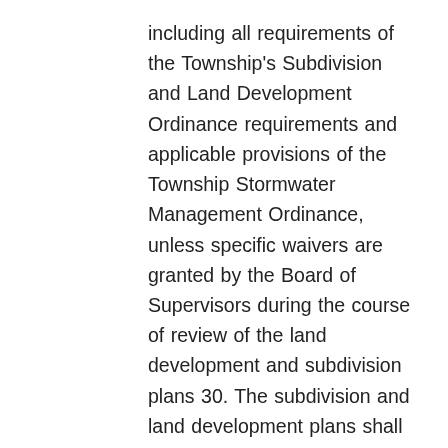including all requirements of the Township's Subdivision and Land Development Ordinance requirements and applicable provisions of the Township Stormwater Management Ordinance, unless specific waivers are granted by the Board of Supervisors during the course of review of the land development and subdivision plans 30. The subdivision and land development plans shall conform with all representations made during the conditional use hearings, whether or not specifically referenced in this Order or in the Findings of Fact. Without limiting the foregoing, the project shall conform with all physical performance standards as set forth in Section 1811 of the Township's Zoning Ordinance and with all